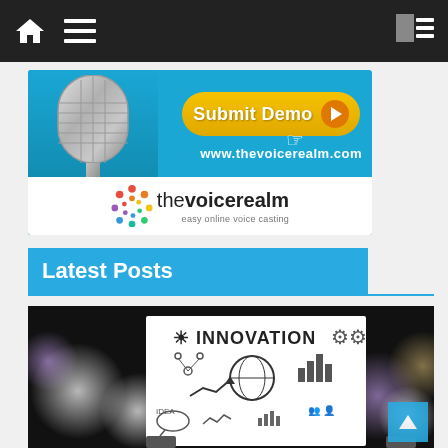Navigation bar with home icon, menu icon, and sidebar icon
[Figure (illustration): The Voice Realm advertisement banner with microphone image, Submit Demo button, www.thevoicerealm.com URL, and thevoicerealm logo with tagline 'easy online voice casting']
Latest Posts
[Figure (photo): Person holding a white sign with INNOVATION written at the top and various business/startup sketches and diagrams on a dark background with bokeh lights]